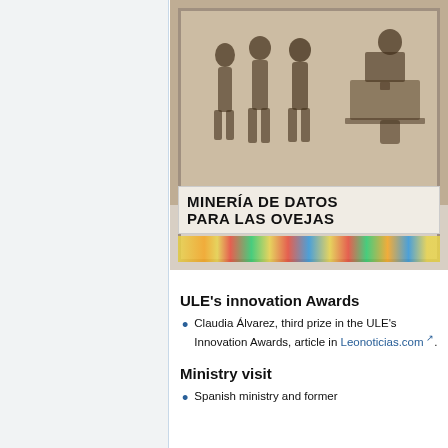[Figure (illustration): Framed artwork showing sketched figures of people in sepia tones, with bold text reading 'MINERÍA DE DATOS PARA LAS OVEJAS' and a colorful paint-splatter stripe at the bottom.]
ULE's innovation Awards
Claudia Álvarez, third prize in the ULE's Innovation Awards, article in Leonoticias.com.
Ministry visit
Spanish ministry and former...